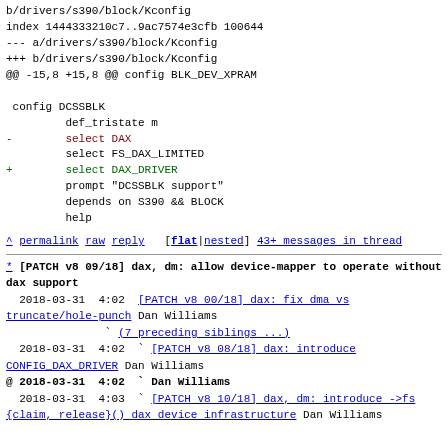b/drivers/s390/block/Kconfig
index 1444333210c7..9ac7574e3cfb 100644
--- a/drivers/s390/block/Kconfig
+++ b/drivers/s390/block/Kconfig
@@ -15,8 +15,8 @@ config BLK_DEV_XPRAM

 config DCSSBLK
         def_tristate m
-        select DAX
         select FS_DAX_LIMITED
+        select DAX_DRIVER
         prompt "DCSSBLK support"
         depends on S390 && BLOCK
         help
^ permalink raw reply   [flat|nested] 43+ messages in thread
* [PATCH v8 09/18] dax, dm: allow device-mapper to operate without dax support
  2018-03-31  4:02  [PATCH v8 00/18] dax: fix dma vs truncate/hole-punch  Dan Williams
               ` (7 preceding siblings ...)
  2018-03-31  4:02  ` [PATCH v8 08/18] dax: introduce CONFIG_DAX_DRIVER  Dan Williams
@ 2018-03-31  4:02  ` Dan Williams
  2018-03-31  4:03  ` [PATCH v8 10/18] dax, dm: introduce ->fs {claim, release}() dax device infrastructure  Dan Williams